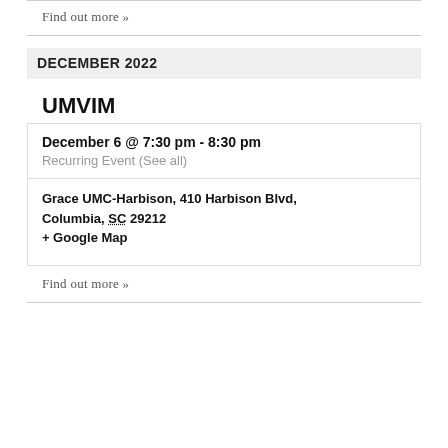Find out more »
DECEMBER 2022
UMVIM
December 6 @ 7:30 pm - 8:30 pm
Recurring Event (See all)
Grace UMC-Harbison, 410 Harbison Blvd, Columbia, SC 29212
+ Google Map
Find out more »